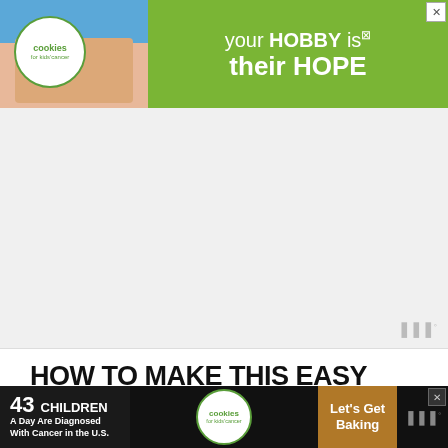[Figure (illustration): Advertisement banner: 'your HOBBY is their HOPE' with cookies for kids' cancer logo, green background, image of hands holding a heart-shaped cookie]
[Figure (illustration): Empty advertisement placeholder space with Wattpad badge bottom right]
HOW TO MAKE THIS EASY NO-BAKE RECIPE
Place the heavy whipping cream in a bowl and beat on medium speed for 30 seconds and then high for 30 seconds. Add the powdered sugar and continue beating on high until you have stiff peaks.
[Figure (illustration): Advertisement banner at bottom: '43 Children A Day Are Diagnosed With Cancer in the U.S.' cookies for kids' cancer, Let's Get Baking]